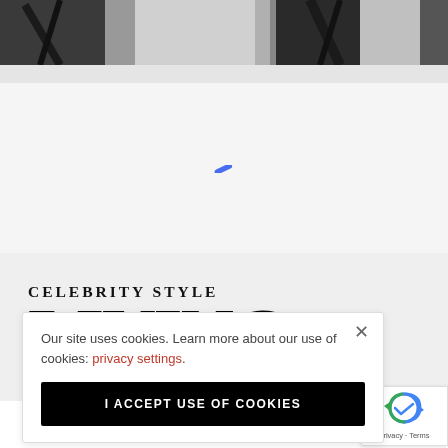[Figure (photo): Top portion of a website screenshot showing a fashion/lifestyle photo cropped at the top, with dark silhouetted figures against a light background]
[Figure (other): Loading spinner icon - small blue diagonal dash indicating page content loading]
CELEBRITY STYLE
LIVING
Our site uses cookies. Learn more about our use of cookies: privacy settings.
I ACCEPT USE OF COOKIES
[Figure (other): Google reCAPTCHA badge showing the reCAPTCHA logo with Privacy and Terms links]